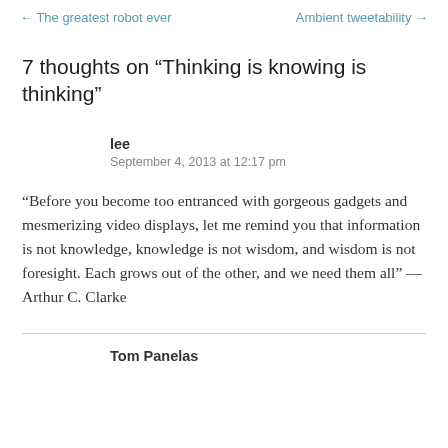← The greatest robot ever    Ambient tweetability →
7 thoughts on “Thinking is knowing is thinking”
lee
September 4, 2013 at 12:17 pm
“Before you become too entranced with gorgeous gadgets and mesmerizing video displays, let me remind you that information is not knowledge, knowledge is not wisdom, and wisdom is not foresight. Each grows out of the other, and we need them all” — Arthur C. Clarke
Tom Panelas